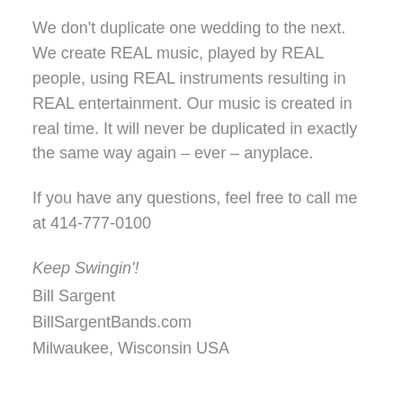We don't duplicate one wedding to the next. We create REAL music, played by REAL people, using REAL instruments resulting in REAL entertainment. Our music is created in real time. It will never be duplicated in exactly the same way again – ever – anyplace.
If you have any questions, feel free to call me at 414-777-0100
Keep Swingin'!
Bill Sargent
BillSargentBands.com
Milwaukee, Wisconsin USA